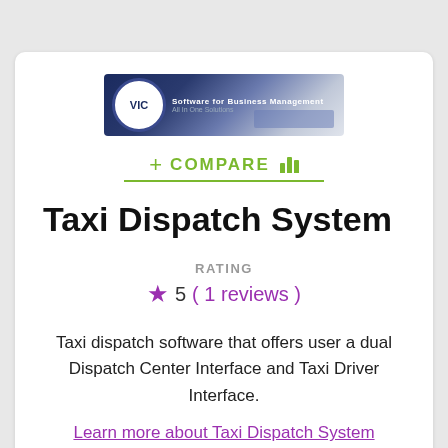[Figure (logo): VIC company logo banner with blue gradient background and circular emblem]
+ COMPARE |||
Taxi Dispatch System
RATING
★ 5 ( 1 reviews )
Taxi dispatch software that offers user a dual Dispatch Center Interface and Taxi Driver Interface.
Learn more about Taxi Dispatch System